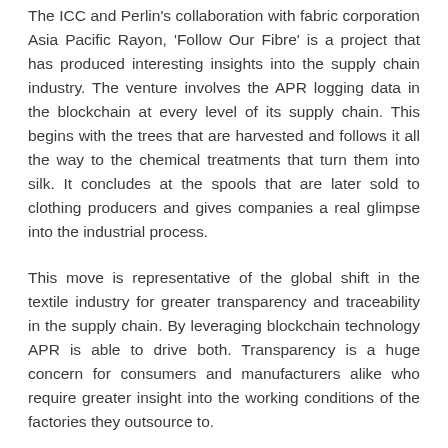The ICC and Perlin's collaboration with fabric corporation Asia Pacific Rayon, 'Follow Our Fibre' is a project that has produced interesting insights into the supply chain industry. The venture involves the APR logging data in the blockchain at every level of its supply chain. This begins with the trees that are harvested and follows it all the way to the chemical treatments that turn them into silk. It concludes at the spools that are later sold to clothing producers and gives companies a real glimpse into the industrial process.
This move is representative of the global shift in the textile industry for greater transparency and traceability in the supply chain. By leveraging blockchain technology APR is able to drive both. Transparency is a huge concern for consumers and manufacturers alike who require greater insight into the working conditions of the factories they outsource to.
Empowered with this information, brands and companies are able to have a better idea of the social and